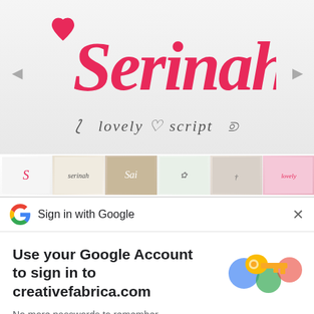[Figure (screenshot): Serinah lovely script font preview on Creative Fabrica website with pink cursive text and thumbnail gallery]
[Figure (screenshot): Sign in with Google dialog overlay showing Google logo, close button, heading, description text, key illustration, and Continue button]
Sign in with Google
Use your Google Account to sign in to creativefabrica.com
No more passwords to remember. Signing in is fast, simple and secure.
Continue